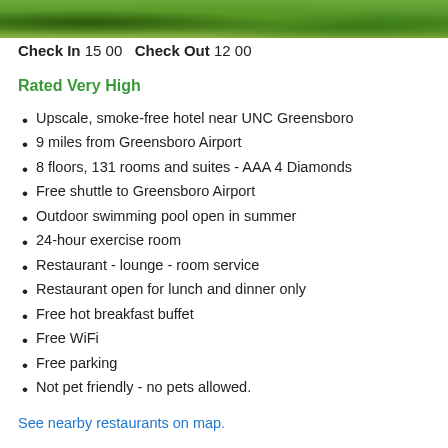[Figure (photo): Outdoor greenery/trees photo banner at top of hotel listing]
Check In 15 00   Check Out 12 00
Rated Very High
Upscale, smoke-free hotel near UNC Greensboro
9 miles from Greensboro Airport
8 floors, 131 rooms and suites - AAA 4 Diamonds
Free shuttle to Greensboro Airport
Outdoor swimming pool open in summer
24-hour exercise room
Restaurant - lounge - room service
Restaurant open for lunch and dinner only
Free hot breakfast buffet
Free WiFi
Free parking
Not pet friendly - no pets allowed.
See nearby restaurants on map.